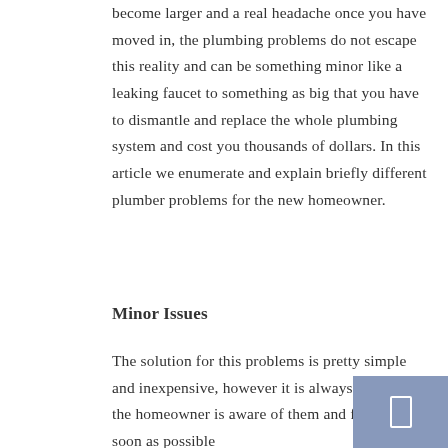become larger and a real headache once you have moved in, the plumbing problems do not escape this reality and can be something minor like a leaking faucet to something as big that you have to dismantle and replace the whole plumbing system and cost you thousands of dollars. In this article we enumerate and explain briefly different plumber problems for the new homeowner.
Minor Issues
The solution for this problems is pretty simple and inexpensive, however it is always convenient the homeowner is aware of them and fix them as soon as possible